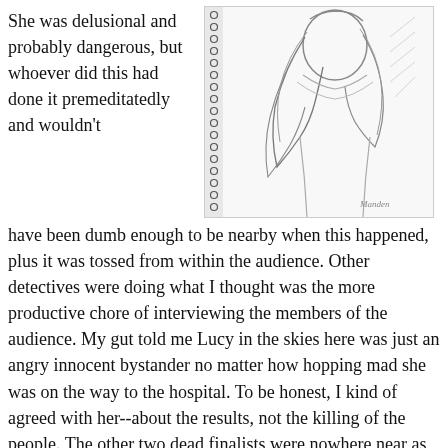She was delusional and probably dangerous, but whoever did this had done it premeditatedly and wouldn't
[Figure (illustration): Pencil sketch illustration of a person with flowing hair, appearing to be in motion or distress, with a signature in the lower right corner.]
have been dumb enough to be nearby when this happened, plus it was tossed from within the audience. Other detectives were doing what I thought was the more productive chore of interviewing the members of the audience. My gut told me Lucy in the skies here was just an angry innocent bystander no matter how hopping mad she was on the way to the hospital. To be honest, I kind of agreed with her--about the results, not the killing of the people. The other two dead finalists were nowhere near as good looking as the wild eyed and sputtering lunatic in the gurney before me. As a matter of fact, if we had met under